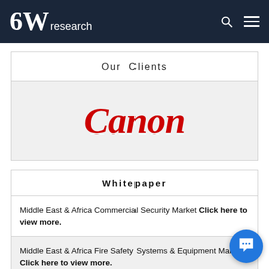6W research
Our Clients
[Figure (logo): Canon logo in red italic serif font on light gray background]
Whitepaper
Middle East & Africa Commercial Security Market Click here to view more.
Middle East & Africa Fire Safety Systems & Equipment Market Click here to view more.
GCC Drone Market Click here to view more.